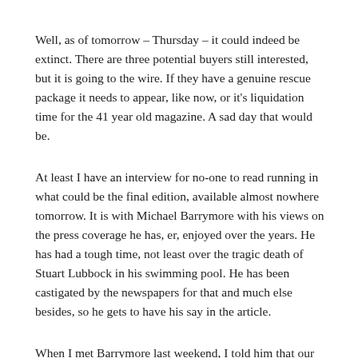Well, as of tomorrow – Thursday – it could indeed be extinct. There are three potential buyers still interested, but it is going to the wire. If they have a genuine rescue package it needs to appear, like now, or it's liquidation time for the 41 year old magazine. A sad day that would be.
At least I have an interview for no-one to read running in what could be the final edition, available almost nowhere tomorrow. It is with Michael Barrymore with his views on the press coverage he has, er, enjoyed over the years. He has had a tough time, not least over the tragic death of Stuart Lubbock in his swimming pool. He has been castigated by the newspapers for that and much else besides, so he gets to have his say in the article.
When I met Barrymore last weekend, I told him that our interview might well be in the obituary edition of the